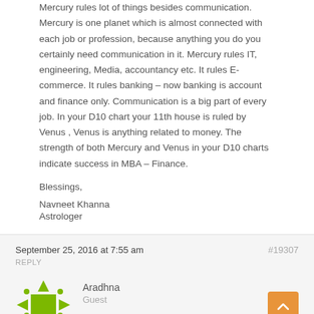Mercury rules lot of things besides communication. Mercury is one planet which is almost connected with each job or profession, because anything you do you certainly need communication in it. Mercury rules IT, engineering, Media, accountancy etc. It rules E-commerce. It rules banking – now banking is account and finance only. Communication is a big part of every job. In your D10 chart your 11th house is ruled by Venus , Venus is anything related to money. The strength of both Mercury and Venus in your D10 charts indicate success in MBA – Finance.
Blessings,
Navneet Khanna
Astrologer
September 25, 2016 at 7:55 am
#19307
REPLY
Aradhna
Guest